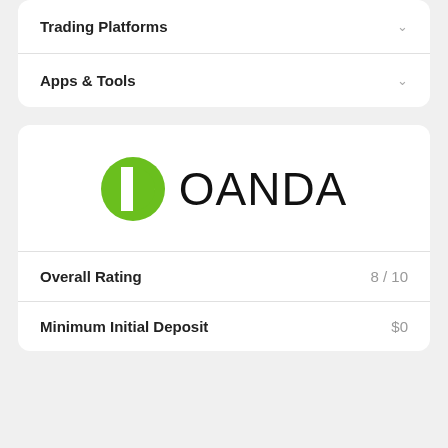Trading Platforms
Apps & Tools
[Figure (logo): OANDA logo: green circular icon with a white notch shape, followed by the word OANDA in large thin black letters]
Overall Rating  8 / 10
Minimum Initial Deposit  $0